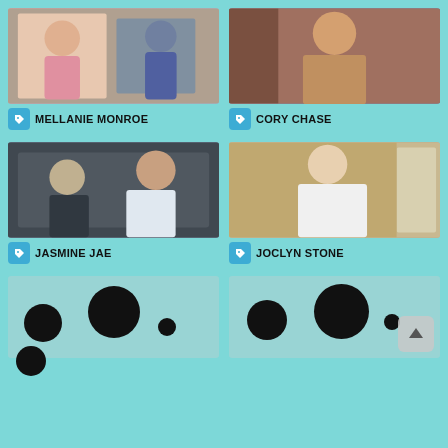[Figure (photo): Thumbnail of Mellanie Monroe - two people in casual clothes]
MELLANIE MONROE
[Figure (photo): Thumbnail of Cory Chase - woman on couch]
CORY CHASE
[Figure (photo): Thumbnail of Jasmine Jae - woman in car]
JASMINE JAE
[Figure (photo): Thumbnail of Joclyn Stone - blonde woman in white outfit sitting]
JOCLYN STONE
[Figure (photo): Censored thumbnail with black circles]
[Figure (photo): Censored thumbnail with black circles and scroll-up button]